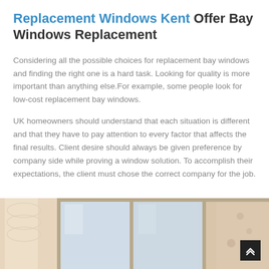Replacement Windows Kent Offer Bay Windows Replacement
Considering all the possible choices for replacement bay windows and finding the right one is a hard task. Looking for quality is more important than anything else.For example, some people look for low-cost replacement bay windows.
UK homeowners should understand that each situation is different and that they have to pay attention to every factor that affects the final results. Client desire should always be given preference by company side while proving a window solution. To accomplish their expectations, the client must chose the correct company for the job.
[Figure (photo): Photograph of bay windows with curtains, showing three window panels in warm tones]